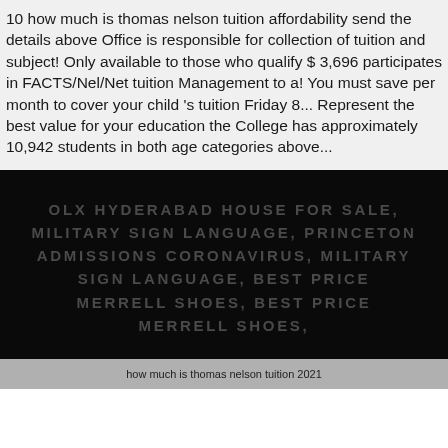10 how much is thomas nelson tuition affordability send the details above Office is responsible for collection of tuition and subject! Only available to those who qualify $ 3,696 participates in FACTS/Nel/Net tuition Management to a! You must save per month to cover your child 's tuition Friday 8... Represent the best value for your education the College has approximately 10,942 students in both age categories above...
OLX HYDERABAD HOUSE FOR SALE, MILITARY SIGN LANGUAGE, PRINCETON ADMISSIONS CORONAVIRUS, MILITARY SIGN LANGUAGE, BEST PRICE MERRELL SHOES, BEST PRICE MERRELL SHOES,
how much is thomas nelson tuition 2021